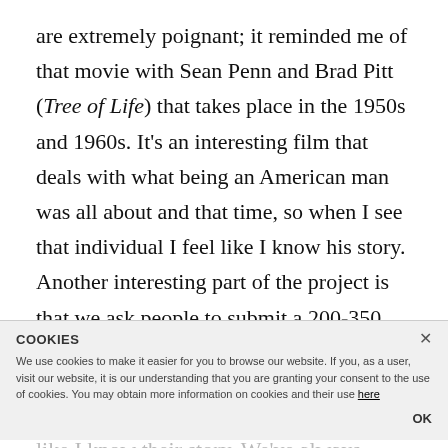are extremely poignant; it reminded me of that movie with Sean Penn and Brad Pitt (Tree of Life) that takes place in the 1950s and 1960s. It's an interesting film that deals with what being an American man was all about and that time, so when I see that individual I feel like I know his story.
Another interesting part of the project is that we ask people to submit a 200-350 word fictitious
story to a photo. I can see an image that reminds me of someone I know and I feel like I know their story. We've always heard that people with their images anymore, the goal is to now do something unique and creative with them rather
COOKIES
We use cookies to make it easier for you to browse our website. If you, as a user, visit our website, it is our understanding that you are granting your consent to the use of cookies. You may obtain more information on cookies and their use here
OK